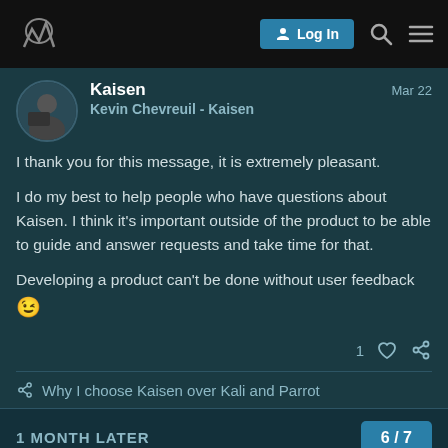Kaisen forum navigation bar with Log In button
Kaisen  Mar 22
Kevin Chevreuil - Kaisen
I thank you for this message, it is extremely pleasant.

I do my best to help people who have questions about Kaisen. I think it's important outside of the product to be able to guide and answer requests and take time for that.

Developing a product can't be done without user feedback 😉
1 ♡ 🔗
🔗 Why I choose Kaisen over Kali and Parrot
1 MONTH LATER
6 / 7